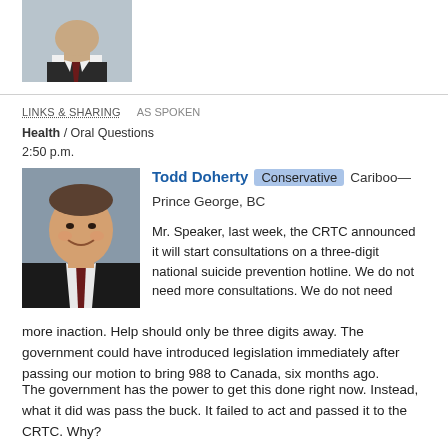[Figure (photo): Partial photo of a person in a suit, cropped at top of page]
LINKS & SHARING   AS SPOKEN
Health / Oral Questions
2:50 p.m.
[Figure (photo): Portrait photo of Todd Doherty, a smiling man in a dark suit]
Todd Doherty  Conservative  Cariboo—Prince George, BC
Mr. Speaker, last week, the CRTC announced it will start consultations on a three-digit national suicide prevention hotline. We do not need more consultations. We do not need more inaction. Help should only be three digits away. The government could have introduced legislation immediately after passing our motion to bring 988 to Canada, six months ago.

The government has the power to get this done right now. Instead, what it did was pass the buck. It failed to act and passed it to the CRTC. Why?